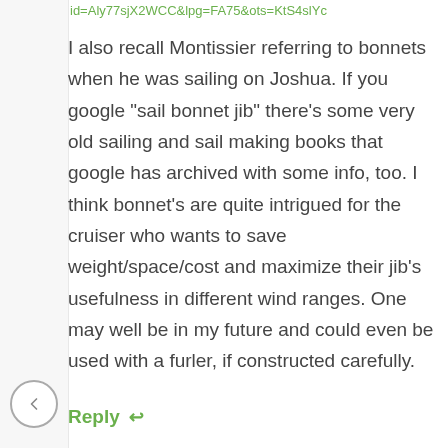id=Aly77sjX2WCC&lpg=FA75&ots=KtS4slyc
I also recall Montissier referring to bonnets when he was sailing on Joshua. If you google "sail bonnet jib" there's some very old sailing and sail making books that google has archived with some info, too. I think bonnet's are quite intrigued for the cruiser who wants to save weight/space/cost and maximize their jib's usefulness in different wind ranges. One may well be in my future and could even be used with a furler, if constructed carefully.
Reply ↩